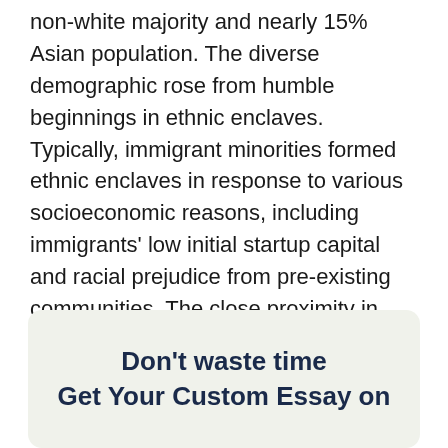non-white majority and nearly 15% Asian population. The diverse demographic rose from humble beginnings in ethnic enclaves. Typically, immigrant minorities formed ethnic enclaves in response to various socioeconomic reasons, including immigrants' low initial startup capital and racial prejudice from pre-existing communities. The close proximity in ethnic enclaves create networks and resources that foster both social and economic growth for members of the enclave.
Don't waste time
Get Your Custom Essay on